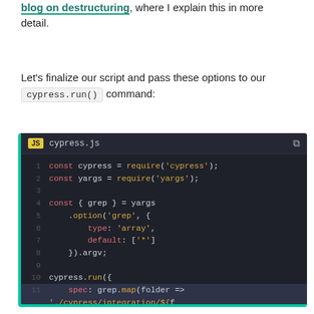blog on destructuring, where I explain this in more detail.
Let's finalize our script and pass these options to our cypress.run() command:
[Figure (screenshot): Code editor screenshot showing cypress.js file with JavaScript code. Code includes: const cypress = require('cypress'); const yargs = require('yargs'); const { grep } = yargs .option('grep', { type: 'array', default: ['*'] }).argv; cypress.run({ spec: grep.map(folder => './cypress/integration/${...'}); Yellow JS badge in header, teal border on left and bottom.]